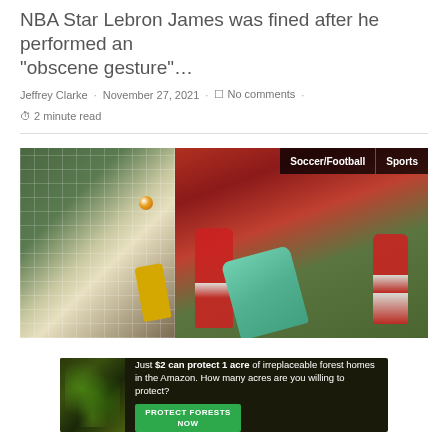NBA Star Lebron James was fined after he performed an “obscene gesture”…
Jeffrey Clarke · November 27, 2021 · No comments · 2 minute read
[Figure (photo): Soccer/football action photo showing a goal scene with a yellow goalkeeper on the left panel and Arsenal players in red and white on the right panel with tags 'Soccer/Football' and 'Sports']
[Figure (photo): Advertisement banner with forest background: 'Just $2 can protect 1 acre of irreplaceable forest homes in the Amazon. How many acres are you willing to protect?' with a 'PROTECT FORESTS NOW' green button]